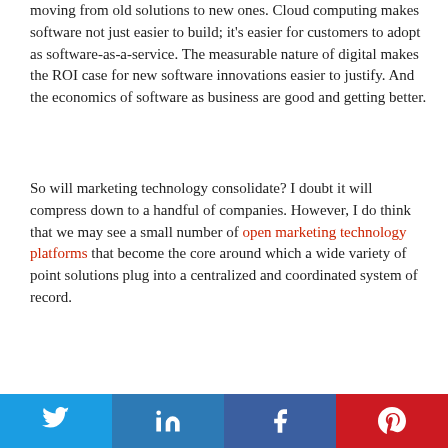moving from old solutions to new ones. Cloud computing makes software not just easier to build; it's easier for customers to adopt as software-as-a-service. The measurable nature of digital makes the ROI case for new software innovations easier to justify. And the economics of software as business are good and getting better.
So will marketing technology consolidate? I doubt it will compress down to a handful of companies. However, I do think that we may see a small number of open marketing technology platforms that become the core around which a wide variety of point solutions plug into a centralized and coordinated system of record.
But let's not get too deep into prognostication of the
[Figure (other): Social sharing buttons bar: Twitter (blue), LinkedIn (blue), Facebook (dark blue), Pinterest (red), each with their respective icons]